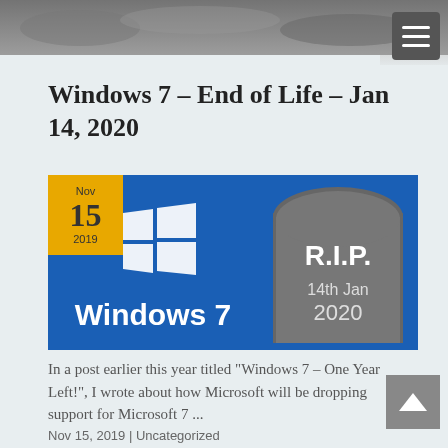[Figure (photo): Top banner with gray/dark background photo, showing a surface with objects, partially visible]
Windows 7 – End of Life – Jan 14, 2020
[Figure (illustration): Blog post illustration: blue background with Windows 7 logo (four-pane window icon) on left, tombstone with R.I.P. 14th Jan 2020 on right, text 'Windows 7' in white at bottom. Overlaid with a date badge showing Nov 15 2019 in gold/yellow.]
In a post earlier this year titled "Windows 7 – One Year Left!", I wrote about how Microsoft will be dropping support for Microsoft 7 ...
Nov 15, 2019 | Uncategorized